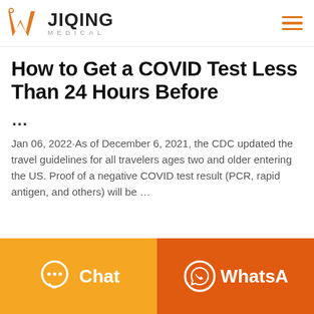JIQING MEDICAL
How to Get a COVID Test Less Than 24 Hours Before
...
Jan 06, 2022·As of December 6, 2021, the CDC updated the travel guidelines for all travelers ages two and older entering the US. Proof of a negative COVID test result (PCR, rapid antigen, and others) will be ...